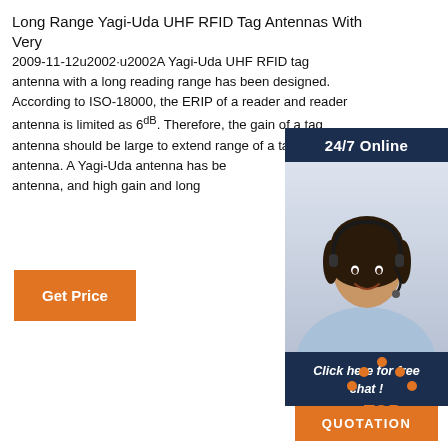Long Range Yagi-Uda UHF RFID Tag Antennas With Very
2009-11-12u2002·u2002A Yagi-Uda UHF RFID tag antenna with a long reading range has been designed. According to ISO-18000, the ERIP of a reader and reader antenna is limited as 6dB. Therefore, the gain of a tag antenna should be large to extend range of a tag antenna. A Yagi-Uda antenna has been RFID tag antenna, and high gain and long
[Figure (other): Orange Get Price button]
[Figure (photo): 24/7 Online customer service agent photo with chat widget showing 'Click here for free chat!' and QUOTATION button]
[Figure (other): TOP navigation icon with orange dots and TOP text]